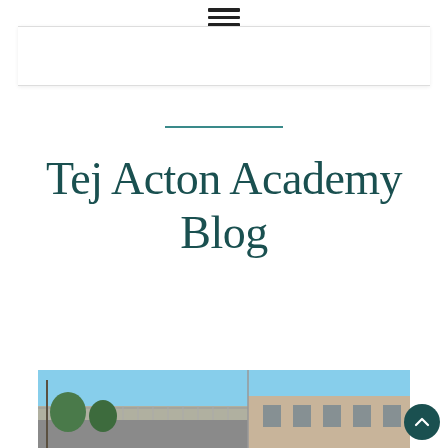☰
Tej Acton Academy Blog
[Figure (photo): Exterior photo of school building with rooftop solar panels or corrugated roof on left and a tan/beige building with windows on the right, blue sky background with trees visible]